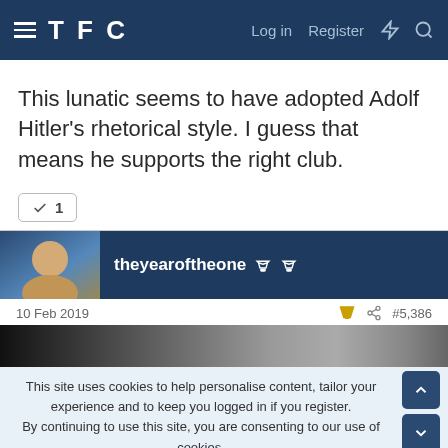TFC — Log in  Register
This lunatic seems to have adopted Adolf Hitler's rhetorical style. I guess that means he supports the right club.
✓ 1
theyearoftheone 🏆 🏆
10 Feb 2019  #5,386
[Figure (photo): Dark crowd photo strip]
This site uses cookies to help personalise content, tailor your experience and to keep you logged in if you register.
By continuing to use this site, you are consenting to our use of cookies.
✓ ACCEPT  LEARN MORE...